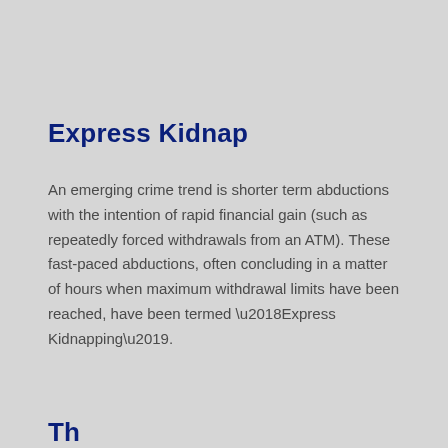Express Kidnap
An emerging crime trend is shorter term abductions with the intention of rapid financial gain (such as repeatedly forced withdrawals from an ATM). These fast-paced abductions, often concluding in a matter of hours when maximum withdrawal limits have been reached, have been termed ‘Express Kidnapping’.
Th